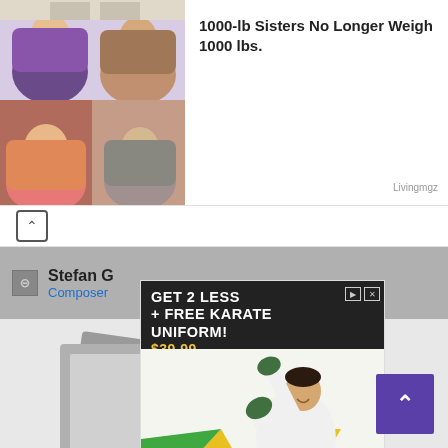[Figure (screenshot): Article thumbnail showing two heavy-set women in two stacked photos]
1000-lb Sisters No Longer Weigh 1000 lbs.
Livingmgz
[Figure (screenshot): Chevron up (collapse) button bar]
Stefan G
Composer
[Figure (screenshot): Image placeholder icon showing mountain/photo placeholder in gray]
[Figure (advertisement): Premier Martial Arts ad: GET 2 LESS + FREE KARATE UNIFORM! $39.99, showing a child doing a high kick in a karate uniform]
[Figure (screenshot): Purple scroll-to-top button with chevron up icon]